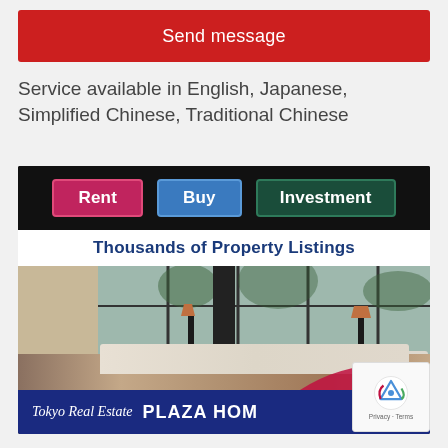Send message
Service available in English, Japanese, Simplified Chinese, Traditional Chinese
[Figure (infographic): Tokyo Real Estate Plaza Homes advertisement banner showing Rent, Buy, Investment buttons, 'Thousands of Property Listings' subheader, luxury interior photo, and company branding at bottom]